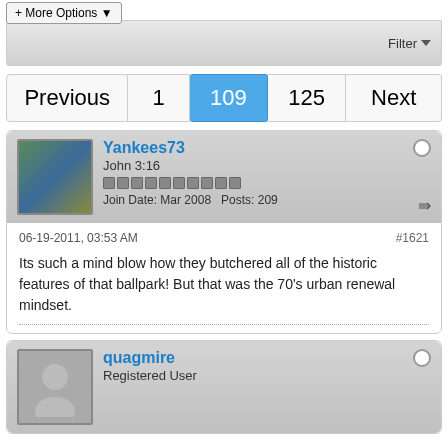+ More Options
Filter
Previous  1  109  125  Next
Yankees73
John 3:16
Join Date: Mar 2008  Posts: 209
06-19-2011, 03:53 AM
#1621
Its such a mind blow how they butchered all of the historic features of that ballpark! But that was the 70's urban renewal mindset.
quagmire
Registered User